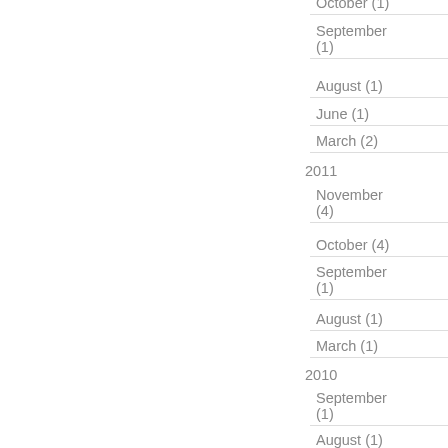October (1)
September (1)
August (1)
June (1)
March (2)
2011
November (4)
October (4)
September (1)
August (1)
March (1)
2010
September (1)
August (1)
June (3)
May (1)
April (4)
March (1)
2009
April (1)